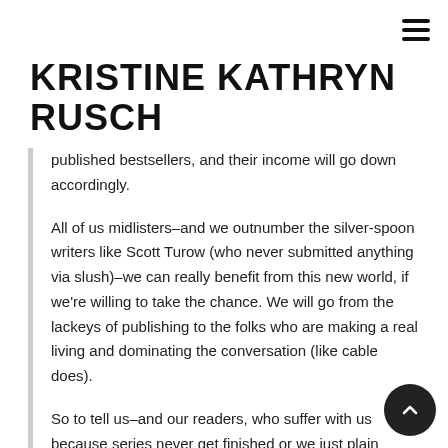KRISTINE KATHRYN RUSCH
published bestsellers, and their income will go down accordingly.
All of us midlisters–and we outnumber the silver-spoon writers like Scott Turow (who never submitted anything via slush)–we can really benefit from this new world, if we're willing to take the chance. We will go from the lackeys of publishing to the folks who are making a real living and dominating the conversation (like cable does).
So to tell us–and our readers, who suffer with us because series never get finished or we just plain